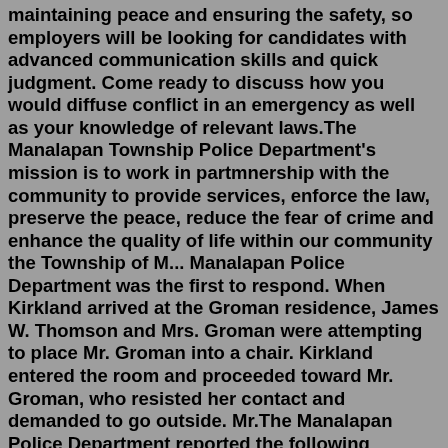maintaining peace and ensuring the safety, so employers will be looking for candidates with advanced communication skills and quick judgment. Come ready to discuss how you would diffuse conflict in an emergency as well as your knowledge of relevant laws.The Manalapan Township Police Department's mission is to work in partmnership with the community to provide services, enforce the law, preserve the peace, reduce the fear of crime and enhance the quality of life within our community the Township of M... Manalapan Police Department was the first to respond. When Kirkland arrived at the Groman residence, James W. Thomson and Mrs. Groman were attempting to place Mr. Groman into a chair. Kirkland entered the room and proceeded toward Mr. Groman, who resisted her contact and demanded to go outside. Mr.The Manalapan Police Department reported the following incidents occurred in the township: • On Dec. 7 at 8:15 p.m., officers responded to a residence on Saxon Court in reference to a report of... Apr 23, 2020 · This week Manalapan